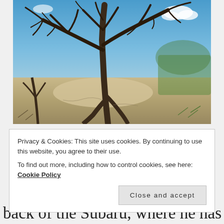[Figure (photo): Photograph of a large dead or dormant tree with bare twisted branches against a bright blue sky with a few white clouds. The ground below is dry, sandy, and cracked, with sparse dry brush. Green vegetation visible in the background on the right.]
Privacy & Cookies: This site uses cookies. By continuing to use this website, you agree to their use.
To find out more, including how to control cookies, see here: Cookie Policy
Close and accept
back of the Subaru, where he has made